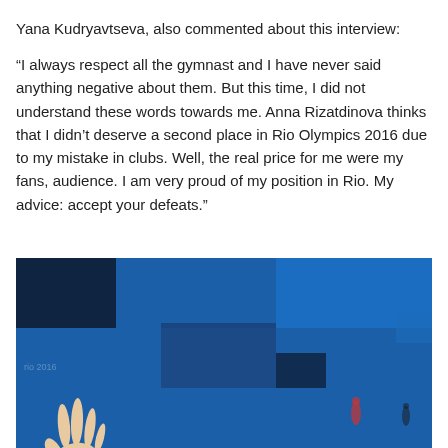Yana Kudryavtseva, also commented about this interview:
“I always respect all the gymnast and I have never said anything negative about them. But this time, I did not understand these words towards me. Anna Rizatdinova thinks that I didn’t deserve a second place in Rio Olympics 2016 due to my mistake in clubs. Well, the real price for me were my fans, audience. I am very proud of my position in Rio. My advice: accept your defeats.”
[Figure (photo): A photo with a blue background showing what appears to be a gymnastics or sports venue. A hand is visible in the lower left corner reaching upward. The background features various shades of blue with some darker rectangles visible.]